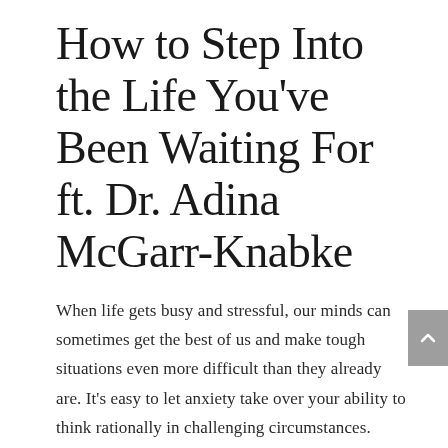How to Step Into the Life You've Been Waiting For ft. Dr. Adina McGarr-Knabke
When life gets busy and stressful, our minds can sometimes get the best of us and make tough situations even more difficult than they already are. It’s easy to let anxiety take over your ability to think rationally in challenging circumstances. That’s why it is incredibly important to continually work to improve your mindset so that you can handle difficult situations when they arise. In turn, you can drastically change your